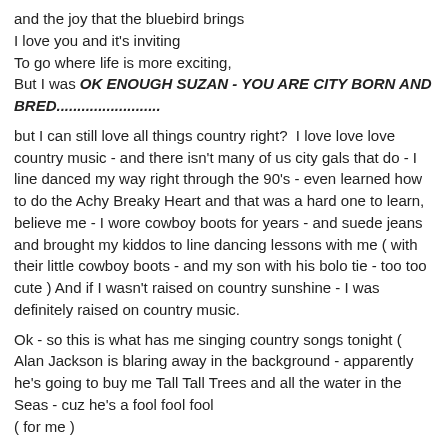and the joy that the bluebird brings
I love you and it's inviting
To go where life is more exciting,
But I was OK ENOUGH SUZAN - YOU ARE CITY BORN AND BRED.........................
but I can still love all things country right?  I love love love country music - and there isn't many of us city gals that do - I line danced my way right through the 90's - even learned how to do the Achy Breaky Heart and that was a hard one to learn, believe me - I wore cowboy boots for years - and suede jeans and brought my kiddos to line dancing lessons with me ( with their little cowboy boots - and my son with his bolo tie - too too cute ) And if I wasn't raised on country sunshine - I was definitely raised on country music.
Ok - so this is what has me singing country songs tonight ( Alan Jackson is blaring away in the background - apparently he's going to buy me Tall Tall Trees and all the water in the Seas - cuz he's a fool fool fool
( for me )